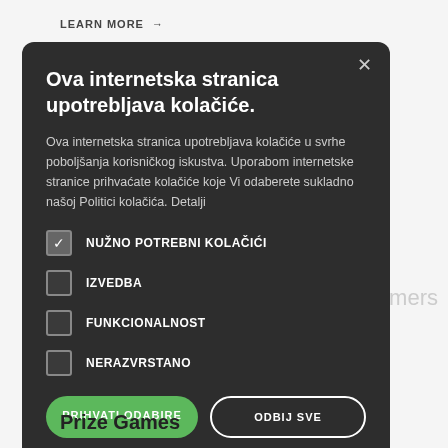LEARN MORE →
Ova internetska stranica upotrebljava kolačiće.
Ova internetska stranica upotrebljava kolačiće u svrhe poboljšanja korisničkog iskustva. Uporabom internetske stranice prihvaćate kolačiće koje Vi odaberete sukladno našoj Politici kolačića. Detalji
NUŽNO POTREBNI KOLAČIĆI
IZVEDBA
FUNKCIONALNOST
NERAZVRSTANO
PRIHVATI ODABIRE
ODBIJ SVE
PRIKAŽI DETALJE
Prize Games